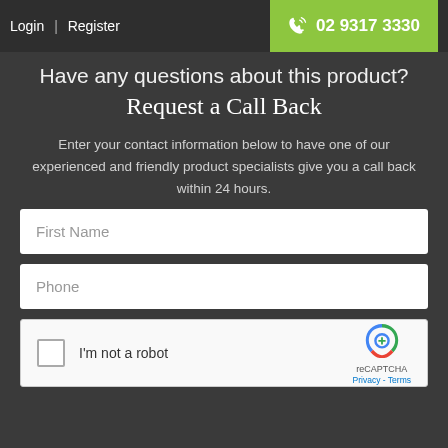Login | Register   02 9317 3330
Have any questions about this product?
Request a Call Back
Enter your contact information below to have one of our experienced and friendly product specialists give you a call back within 24 hours.
First Name
Phone
[Figure (other): reCAPTCHA widget with checkbox labeled I'm not a robot, reCAPTCHA logo, Privacy and Terms links]